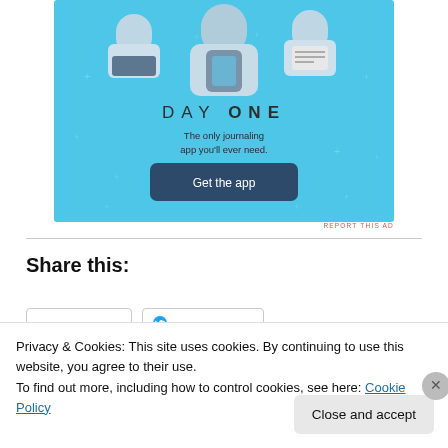[Figure (illustration): Day One journaling app advertisement banner with blue background showing cartoon figures holding devices, app name DAY ONE, tagline 'The only journaling app you'll ever need.' and a 'Get the app' button]
REPORT THIS AD
Share this:
Privacy & Cookies: This site uses cookies. By continuing to use this website, you agree to their use.
To find out more, including how to control cookies, see here: Cookie Policy
Close and accept